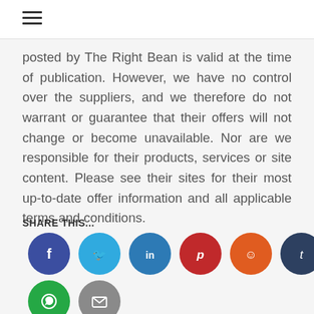☰
posted by The Right Bean is valid at the time of publication. However, we have no control over the suppliers, and we therefore do not warrant or guarantee that their offers will not change or become unavailable. Nor are we responsible for their products, services or site content. Please see their sites for their most up-to-date offer information and all applicable terms and conditions.
SHARE THIS...
[Figure (infographic): Row of social media share buttons: Facebook (dark blue), Twitter (light blue), LinkedIn (blue), Pinterest (red), Reddit (orange), Tumblr (dark teal)]
[Figure (infographic): Second row of social media share buttons: WhatsApp (green), Email (gray)]